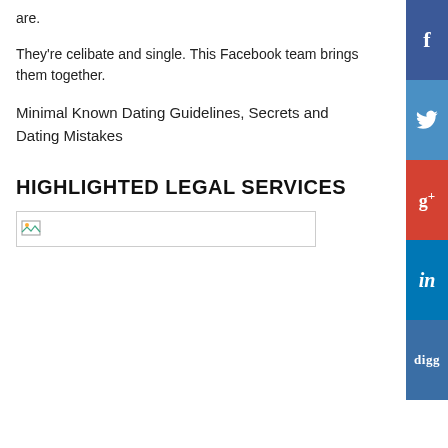are.
They're celibate and single. This Facebook team brings them together.
Minimal Known Dating Guidelines, Secrets and Dating Mistakes
HIGHLIGHTED LEGAL SERVICES
[Figure (other): Broken/loading image placeholder with small thumbnail icon]
[Figure (other): Social media share sidebar with Facebook (f), Twitter (bird), Google+ (g+), LinkedIn (in), and Digg (digg) buttons stacked vertically on the right side]